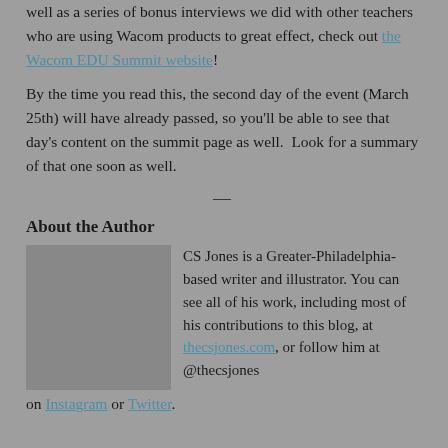well as a series of bonus interviews we did with other teachers who are using Wacom products to great effect, check out the Wacom EDU Summit website!
By the time you read this, the second day of the event (March 25th) will have already passed, so you'll be able to see that day's content on the summit page as well.  Look for a summary of that one soon as well.
—
About the Author
CS Jones is a Greater-Philadelphia-based writer and illustrator. You can see all of his work, including most of his contributions to this blog, at thecsjones.com, or follow him at @thecsjones on Instagram or Twitter.